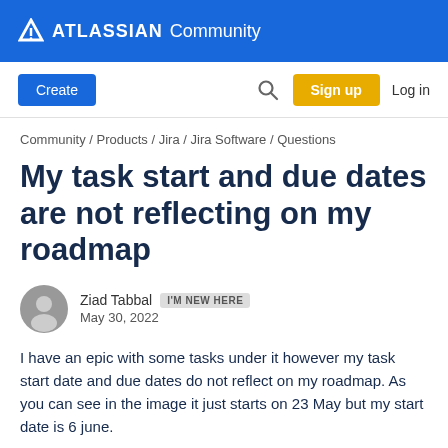ATLASSIAN Community
[Figure (screenshot): Navigation bar with Create button, search icon, Sign up button, Log in link]
Community / Products / Jira / Jira Software / Questions
My task start and due dates are not reflecting on my roadmap
Ziad Tabbal  I'M NEW HERE
May 30, 2022
I have an epic with some tasks under it however my task start date and due dates do not reflect on my roadmap. As you can see in the image it just starts on 23 May but my start date is 6 june.